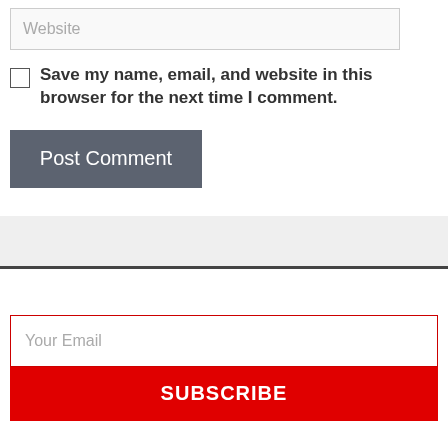Website
Save my name, email, and website in this browser for the next time I comment.
Post Comment
Your Email
SUBSCRIBE